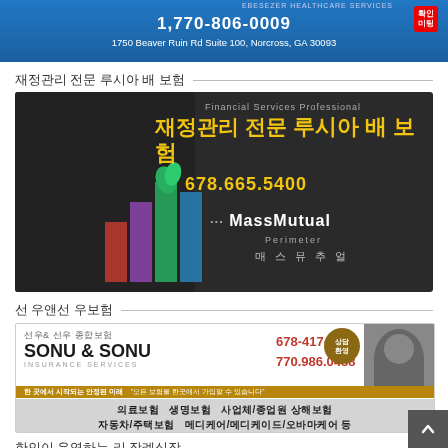[Figure (advertisement): Ebezezer Health Care Services ad banner with phone 1,770-806-0009 and address 1750 Beaver Ruin Rd Suite 100, Norcross, GA 30093]
재정관리 전문 루시아 배 보험
[Figure (advertisement): 재정관리 전문 루시아 배 보험 - MassMutual Perimeter ad with phone 678.665.5400, dark background with bar chart graphic]
선 우앤선 우보험
[Figure (advertisement): SONU & SONU Insurance Services ad with phone 678-417-1275, 770.986.0488, listing 의료보험, 생명보험, 사업체/종업원 상해보험, 자동차/주택보험, 메디케어/메디케이드/오바마케어 등]
한인이 운영하는 리 장례식장